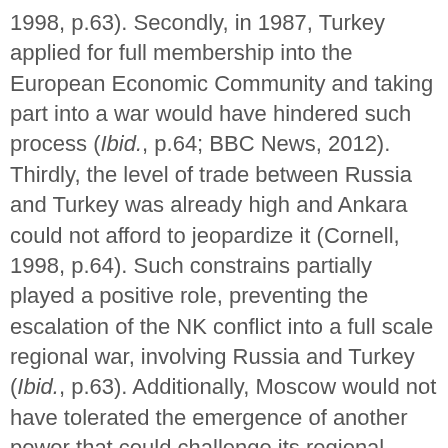1998, p.63). Secondly, in 1987, Turkey applied for full membership into the European Economic Community and taking part into a war would have hindered such process (Ibid., p.64; BBC News, 2012). Thirdly, the level of trade between Russia and Turkey was already high and Ankara could not afford to jeopardize it (Cornell, 1998, p.64). Such constrains partially played a positive role, preventing the escalation of the NK conflict into a full scale regional war, involving Russia and Turkey (Ibid., p.63). Additionally, Moscow would not have tolerated the emergence of another power that could challenge its regional hegemonic position (Ibid., p.65). Apart from external constraints, Turkey had to respect also its own internal p[↑]es. The doctrine of Kemalismiv does not allow Turkey